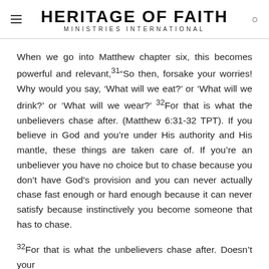HERITAGE OF FAITH MINISTRIES INTERNATIONAL
When we go into Matthew chapter six, this becomes powerful and relevant,31“So then, forsake your worries! Why would you say, ‘What will we eat?’ or ‘What will we drink?’ or ‘What will we wear?’ 32For that is what the unbelievers chase after. (Matthew 6:31-32 TPT). If you believe in God and you’re under His authority and His mantle, these things are taken care of. If you’re an unbeliever you have no choice but to chase because you don’t have God’s provision and you can never actually chase fast enough or hard enough because it can never satisfy because instinctively you become someone that has to chase.
32For that is what the unbelievers chase after. Doesn’t your